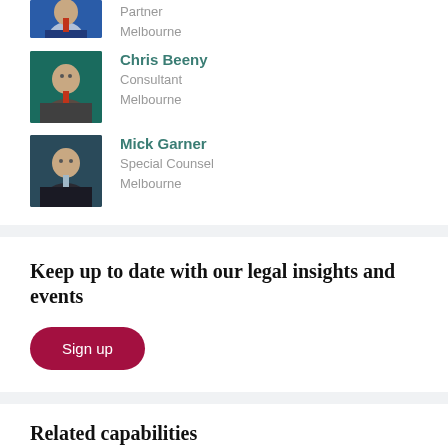[Figure (photo): Partial photo of a person in a suit with tie, cropped at top]
Partner
Melbourne
[Figure (photo): Photo of Chris Beeny, older man in suit with red tie, against teal background]
Chris Beeny
Consultant
Melbourne
[Figure (photo): Photo of Mick Garner, man in dark suit with light tie, against dark background]
Mick Garner
Special Counsel
Melbourne
Keep up to date with our legal insights and events
Sign up
Related capabilities
Corporate & Commercial